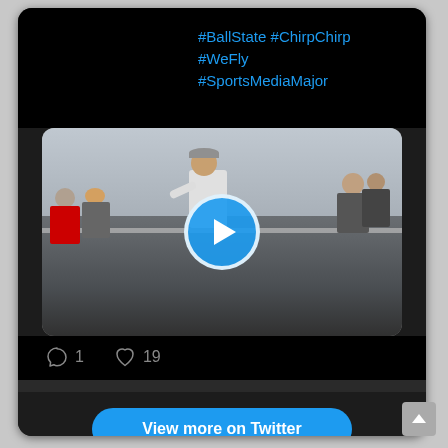#BallState #ChirpChirp #WeFly #SportsMediaMajor
[Figure (screenshot): Twitter/social media embed showing a video thumbnail of sports fans at a stadium with a play button overlay. Engagement shows 1 reply and 19 likes.]
1
19
View more on Twitter
Learn more about privacy on Twitter